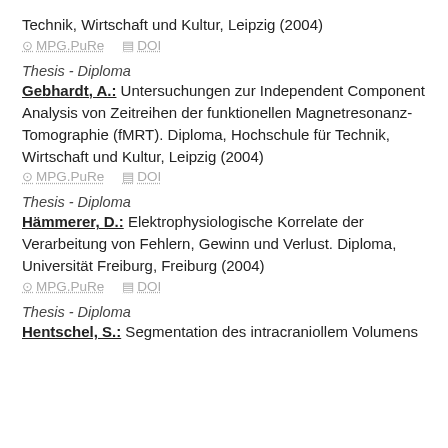Technik, Wirtschaft und Kultur, Leipzig (2004)
MPG.PuRe   DOI
Thesis - Diploma
Gebhardt, A.: Untersuchungen zur Independent Component Analysis von Zeitreihen der funktionellen Magnetresonanz-Tomographie (fMRT). Diploma, Hochschule für Technik, Wirtschaft und Kultur, Leipzig (2004)
MPG.PuRe   DOI
Thesis - Diploma
Hämmerer, D.: Elektrophysiologische Korrelate der Verarbeitung von Fehlern, Gewinn und Verlust. Diploma, Universität Freiburg, Freiburg (2004)
MPG.PuRe   DOI
Thesis - Diploma
Hentschel, S.: Segmentation des intracraniollem Volumens